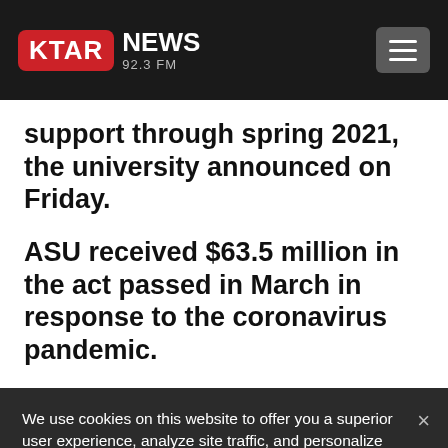KTAR NEWS 92.3 FM
support through spring 2021, the university announced on Friday.
ASU received $63.5 million in the act passed in March in response to the coronavirus pandemic.
We use cookies on this website to offer you a superior user experience, analyze site traffic, and personalize content and advertisements. By continuing to use our site, you consent to our use of cookies. Please visit our Privacy Policy for more information.
Accept Cookies